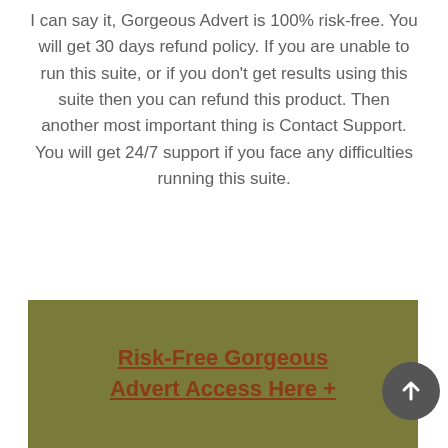I can say it, Gorgeous Advert is 100% risk-free. You will get 30 days refund policy. If you are unable to run this suite, or if you don't get results using this suite then you can refund this product. Then another most important thing is Contact Support. You will get 24/7 support if you face any difficulties running this suite.
Risk-Free Gorgeous Advert Access Here +